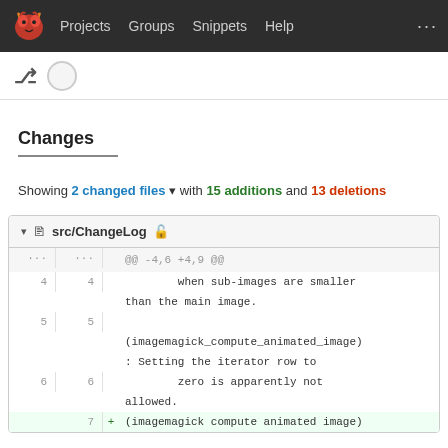GNU logo | Projects | Groups | Snippets | Help | ...
Changes
Showing 2 changed files with 15 additions and 13 deletions
src/ChangeLog
| old | new | sign | code |
| --- | --- | --- | --- |
| ... | ... |  | @@ -4,6 +4,9 @@ |
| 4 | 4 |  |         when sub-images are smaller than the main image. |
| 5 | 5 |  | (imagemagick_compute_animated_image): Setting the iterator row to         zero is apparently not allowed. |
| 6 | 6 |  |         zero is apparently not allowed. |
|  | 7 | + | (imagemagick compute animated image) |